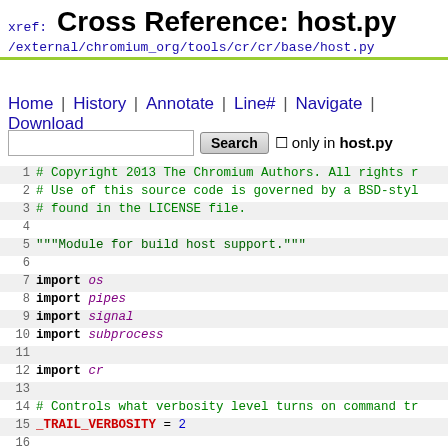xref: Cross Reference: host.py
/external/chromium_org/tools/cr/cr/base/host.py
Home | History | Annotate | Line# | Navigate | Download
Search  only in host.py
1  # Copyright 2013 The Chromium Authors. All rights r
2  # Use of this source code is governed by a BSD-sty
3  # found in the LICENSE file.
4
5  """Module for build host support."""
6
7  import os
8  import pipes
9  import signal
10 import subprocess
11
12 import cr
13
14 # Controls what verbosity level turns on command tr
15 _TRAIL_VERBOSITY = 2
16
17 def PrintTrail(trail):
18   print 'Command expanded the following variables:'
19   for key, value in trail: